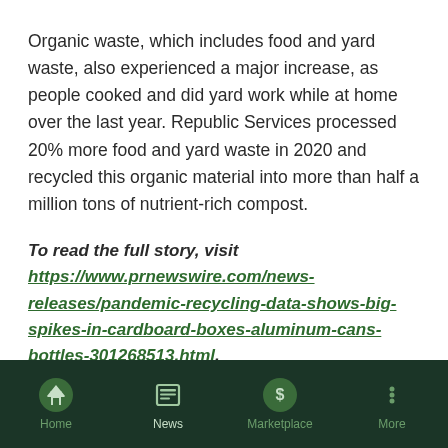Organic waste, which includes food and yard waste, also experienced a major increase, as people cooked and did yard work while at home over the last year. Republic Services processed 20% more food and yard waste in 2020 and recycled this organic material into more than half a million tons of nutrient-rich compost.
To read the full story, visit https://www.prnewswire.com/news-releases/pandemic-recycling-data-shows-big-spikes-in-cardboard-boxes-aluminum-cans-bottles-301268513.html.
Author: PR Newswire
Image: PR Newswire
Home | News | Marketplace | More